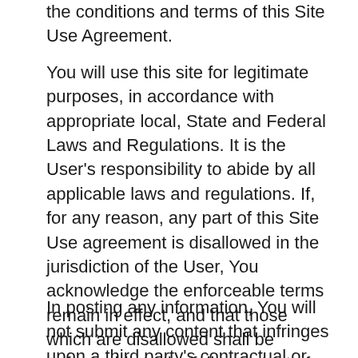the conditions and terms of this Site Use Agreement.
You will use this site for legitimate purposes, in accordance with appropriate local, State and Federal Laws and Regulations. It is the User's responsibility to abide by all applicable laws and regulations. If, for any reason, any part of this Site Use agreement is disallowed in the jurisdiction of the User, You acknowledge the enforceable terms remain in effect, and that those which are disallowed shall be enforceable to the fullest extent of the applicable law. No advice or information, whether oral or written, obtained by a User from this site, its officers, directors, employees or agents, shall create any warranty not expressly made herein.
In posting any information, You will not submit any content that infringes upon a third party's contractual or property rights or any content that is illegal, false, misleading, defamatory, harassing, abusive or